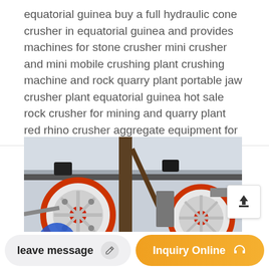equatorial guinea buy a full hydraulic cone crusher in equatorial guinea and provides machines for stone crusher mini crusher and mini mobile crushing plant crushing machine and rock quarry plant portable jaw crusher plant equatorial guinea hot sale rock crusher for mining and quarry plant red rhino crusher aggregate equipment for
[Figure (photo): Industrial machinery photo showing large red and white flywheels/pulleys of a crusher machine viewed from below, inside a workshop or factory building with metal roof structure visible]
leave message
Inquiry Online